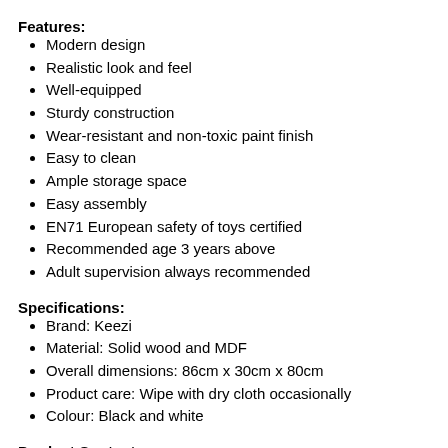Features:
Modern design
Realistic look and feel
Well-equipped
Sturdy construction
Wear-resistant and non-toxic paint finish
Easy to clean
Ample storage space
Easy assembly
EN71 European safety of toys certified
Recommended age 3 years above
Adult supervision always recommended
Specifications:
Brand: Keezi
Material: Solid wood and MDF
Overall dimensions: 86cm x 30cm x 80cm
Product care: Wipe with dry cloth occasionally
Colour: Black and white
Product Contents:
(1) Keezi Wooden Kitchen Play Set x1